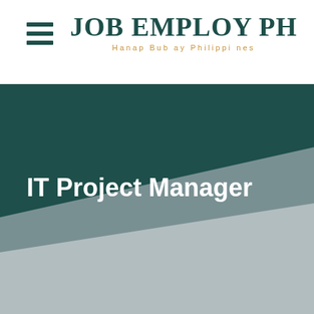JOB EMPLOY PH — Hanap Bub ay Philippi nes
IT Project Manager
[Figure (illustration): Decorative diagonal gray shapes at the bottom of the page background]